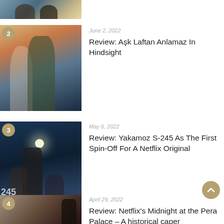[Figure (photo): Partial top image of article 1 - two people]
[Figure (photo): Article 2 thumbnail - couple embracing romantically outdoors, romantic Turkish drama]
June 2, 2022
Review: Aşk Laftan Anlamaz In Hindsight
[Figure (photo): Article 3 thumbnail - dark scene with people and submarine, Yakamoz S-245]
May 6, 2022
Review: Yakamoz S-245 As The First Spin-Off For A Netflix Original
[Figure (photo): Article 4 thumbnail - man in suit with historical building background]
April 29, 2022
Review: Netflix's Midnight at the Pera Palace – A historical caper